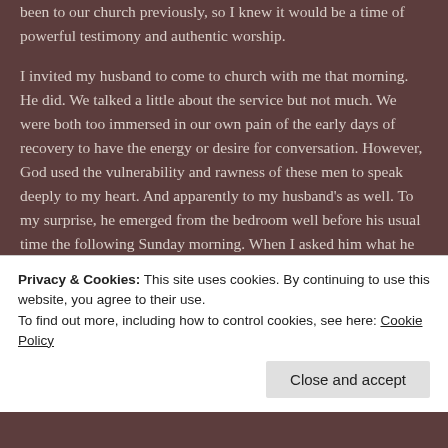been to our church previously, so I knew it would be a time of powerful testimony and authentic worship.

I invited my husband to come to church with me that morning. He did. We talked a little about the service but not much. We were both too immersed in our own pain of the early days of recovery to have the energy or desire for conversation. However, God used the vulnerability and rawness of these men to speak deeply to my heart. And apparently to my husband's as well. To my surprise, he emerged from the bedroom well before his usual time the following Sunday morning. When I asked him what he was doing, he said he was coming to church with me. I hadn't invited him, so I wasn't quite sure what to make of this development. I was curious and skeptical of his intentions, but we went to church together again. And then again. And then again.
Privacy & Cookies: This site uses cookies. By continuing to use this website, you agree to their use.
To find out more, including how to control cookies, see here: Cookie Policy
Close and accept